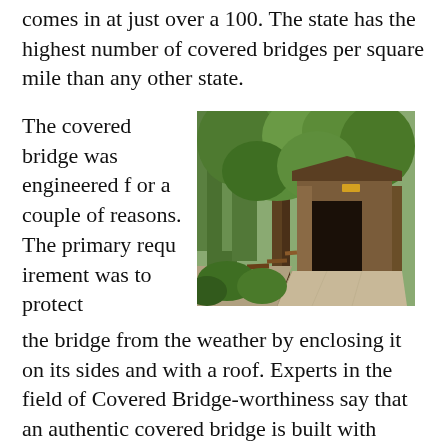comes in at just over a 100. The state has the highest number of covered bridges per square mile than any other state.
The covered bridge was engineered f or a couple of reasons. The primary requ irement was to protect the bridge from the weather by enclosing it on its sides and with a roof. Experts in the field of Covered Bridge-worthiness say that an authentic covered bridge is built with trusses. Vermont law now protects covered bridges and none can be torn down without approval from the governor and the Board of Historic
[Figure (photo): A covered wooden bridge surrounded by green trees, with a gravel road leading into the bridge entrance. The bridge has a dark brown wooden roof and sides.]